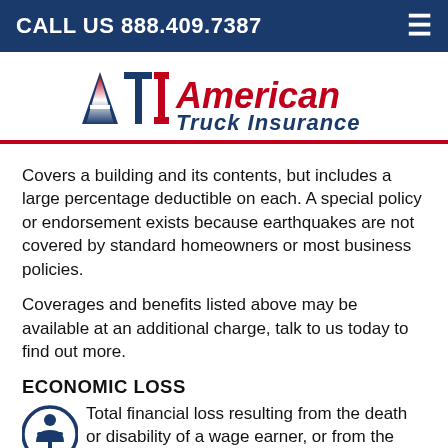CALL US 888.409.7387
[Figure (logo): ATI American Truck Insurance logo with stylized letters A, T, I in red/white/blue colors followed by text 'American Truck Insurance']
Covers a building and its contents, but includes a large percentage deductible on each. A special policy or endorsement exists because earthquakes are not covered by standard homeowners or most business policies.
Coverages and benefits listed above may be available at an additional charge, talk to us today to find out more.
ECONOMIC LOSS
Total financial loss resulting from the death or disability of a wage earner, or from the destruction of property. Includes the loss of earnings, medical expenses, funeral expenses, the cost of restoring or